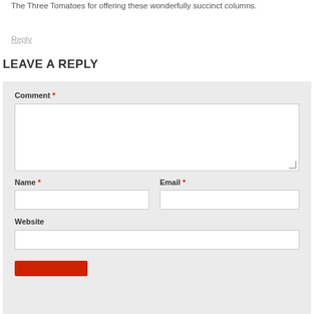The Three Tomatoes for offering these wonderfully succinct columns.
Reply
LEAVE A REPLY
Comment *
Name *
Email *
Website